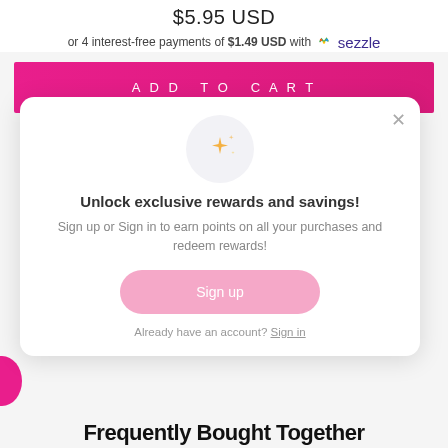$5.95 USD
or 4 interest-free payments of $1.49 USD with ✦ sezzle
ADD TO CART
[Figure (screenshot): Modal popup with sparkle stars icon, heading 'Unlock exclusive rewards and savings!', description text, Sign up button, and Already have an account? Sign in link]
Frequently Bought Together